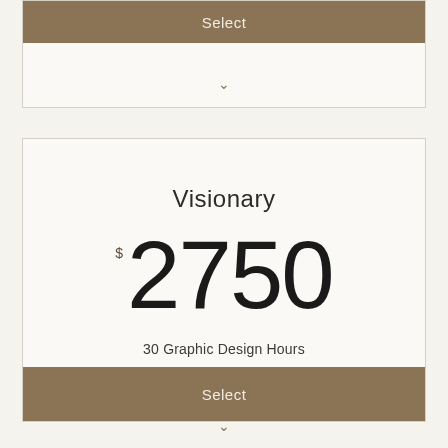Select
Visionary
$2750
30 Graphic Design Hours
Select